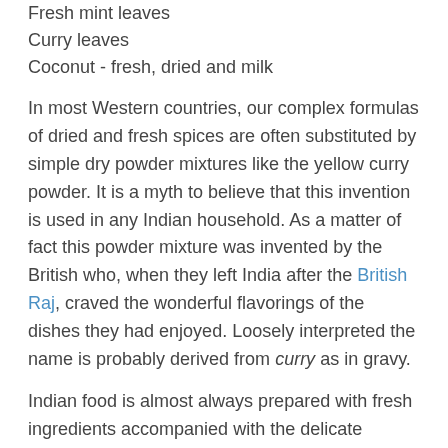Fresh mint leaves
Curry leaves
Coconut - fresh, dried and milk
In most Western countries, our complex formulas of dried and fresh spices are often substituted by simple dry powder mixtures like the yellow curry powder. It is a myth to believe that this invention is used in any Indian household. As a matter of fact this powder mixture was invented by the British who, when they left India after the British Raj, craved the wonderful flavorings of the dishes they had enjoyed. Loosely interpreted the name is probably derived from curry as in gravy.
Indian food is almost always prepared with fresh ingredients accompanied with the delicate combination of many fresh and dried spices. The exact recipes often vary from one household to another.
I really do hope I was able to bring you a little closer to the multitude of spices used in traditional Indian cooking. For me, it was always so very tedious to figure out what spice